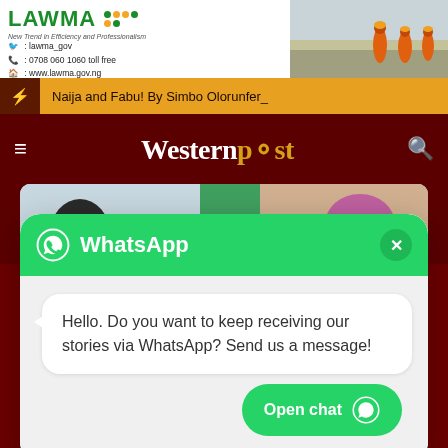[Figure (screenshot): LAWMA advertisement banner with green logo, contact information, and workers in orange uniforms]
Naija and Fabu! By Simbo Olorunfer_
[Figure (logo): Western Post website logo with hamburger menu and search icon on dark red background]
[Figure (photo): Article photo - partially visible]
[Figure (screenshot): WhatsApp chat popup with green header showing WhatsApp logo and title, message bubble saying 'Hello. Do you want to keep receiving our stories via WhatsApp? Send us a message!' and Open chat button]